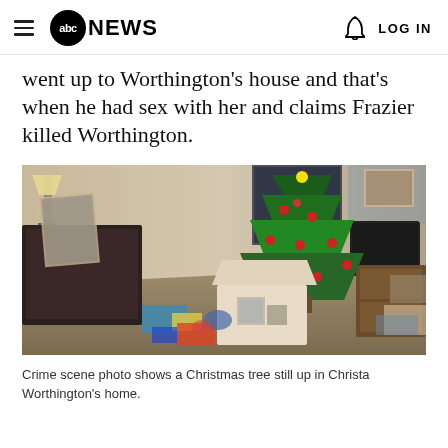abc NEWS  LOG IN
went up to Worthington's house and that's when he had sex with her and claims Frazier killed Worthington.
[Figure (photo): Crime scene photo of a messy living room with a decorated Christmas tree, scattered toys and items on the floor, a lamp, a television, and various household items in disarray — the inside of Christa Worthington's home.]
Crime scene photo shows a Christmas tree still up in Christa Worthington's home.